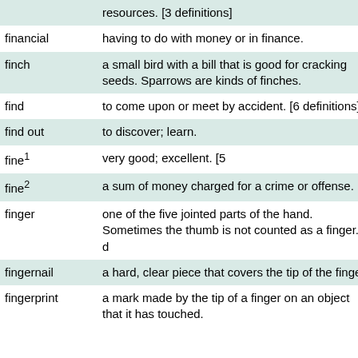| Term | Definition |
| --- | --- |
|  | resources. [3 definitions] |
| financial | having to do with money or in finance. |
| finch | a small bird with a bill that is good for cracking seeds. Sparrows are kinds of finches. |
| find | to come upon or meet by accident. [6 definitions] |
| find out | to discover; learn. |
| fine¹ | very good; excellent. [5 definitions] |
| fine² | a sum of money charged for a crime or offense. [2 definitions] |
| finger | one of the five jointed parts of the hand. Sometimes the thumb is not counted as a finger. [3 definitions] |
| fingernail | a hard, clear piece that covers the tip of the finger. |
| fingerprint | a mark made by the tip of a finger on an object that it has touched. |